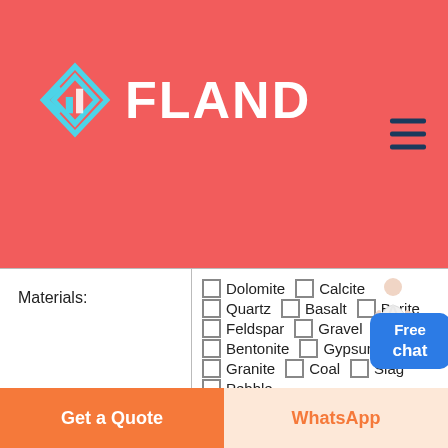[Figure (logo): Fland company logo with geometric diamond/arrow icon in cyan/teal and white text FLAND on red/coral background]
| Field | Options |
| --- | --- |
| Materials: | Dolomite, Calcite, Quartz, Basalt, Barite, Feldspar, Gravel, Bentonite, Gypsum, Granite, Coal, Slag, Pebble, Other: (text input As: Marble) |
| Capacity: | > 100 TPH, > 50 TPH, > 30 TPH, > 10 TPH |
Get a Quote
WhatsApp